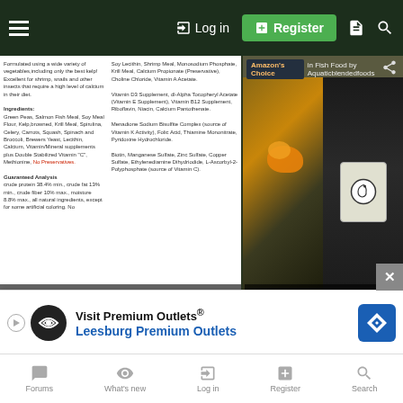Log in | Register
[Figure (screenshot): Product ingredient label and fish food packaging with snail/shrimp images. Left panel shows text of ingredients. Right panel shows orange snail on substrate and packaged fish food product.]
Beastije
Fish Crazy
Apr 10, 2022  #2
Can't advice about any of that but you are always grea alo...
[Figure (screenshot): Advertisement for Visit Premium Outlets - Leesburg Premium Outlets]
Forums  What's new  Log in  Register  Search